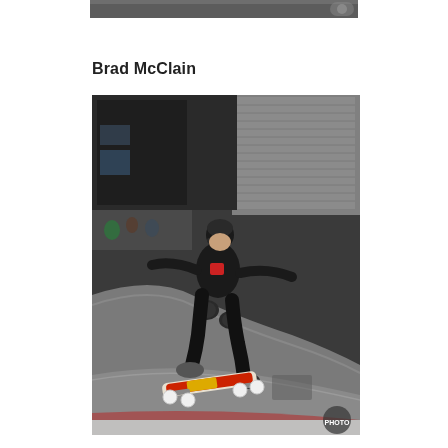[Figure (photo): Partial top edge of a skateboarding photo, cropped at the top of the page]
Brad McClain
[Figure (photo): Skateboarder Brad McClain performing a trick in a concrete skate bowl, wearing black outfit with helmet and knee pads, skateboard with red and yellow design visible]